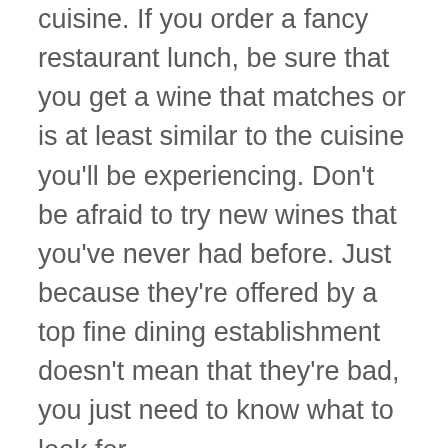cuisine. If you order a fancy restaurant lunch, be sure that you get a wine that matches or is at least similar to the cuisine you'll be experiencing. Don't be afraid to try new wines that you've never had before. Just because they're offered by a top fine dining establishment doesn't mean that they're bad, you just need to know what to look for.
– When you eat fine food that is prepared properly, you come away feeling better about yourself and having more energy than you did when you walked into the restaurant. You don't feel over-stuffed